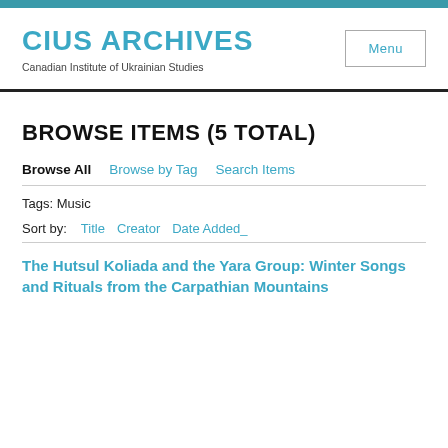CIUS ARCHIVES
Canadian Institute of Ukrainian Studies
BROWSE ITEMS (5 TOTAL)
Browse All   Browse by Tag   Search Items
Tags: Music
Sort by:   Title   Creator   Date Added_
The Hutsul Koliada and the Yara Group: Winter Songs and Rituals from the Carpathian Mountains